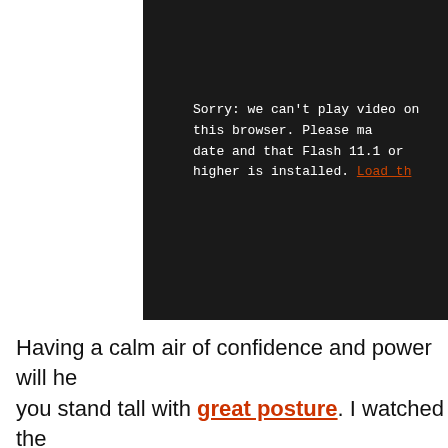[Figure (screenshot): Dark video player area with error message text in white monospace font reading: Sorry: we can't play video on this browser. Please make sure your browser is up to date and that Flash 11.1 or higher is installed. Load th...]
Having a calm air of confidence and power will help you stand tall with great posture. I watched the above outstanding TED talk today about how and to do a 2-minute move that instills powerful feelings of confidence. It is well worth the 20 minutes to watch, and if you don't have time now, save it for later! I'm sending it to my daughter who has lots of confidence